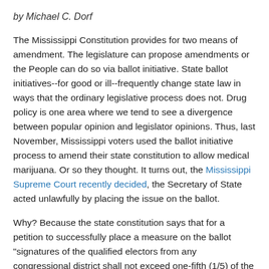by Michael C. Dorf
The Mississippi Constitution provides for two means of amendment. The legislature can propose amendments or the People can do so via ballot initiative. State ballot initiatives--for good or ill--frequently change state law in ways that the ordinary legislative process does not. Drug policy is one area where we tend to see a divergence between popular opinion and legislator opinions. Thus, last November, Mississippi voters used the ballot initiative process to amend their state constitution to allow medical marijuana. Or so they thought. It turns out, the Mississippi Supreme Court recently decided, the Secretary of State acted unlawfully by placing the issue on the ballot.
Why? Because the state constitution says that for a petition to successfully place a measure on the ballot "signatures of the qualified electors from any congressional district shall not exceed one-fifth (1/5) of the total number of signatures required to qualify an initiative petition for placement upon the ballot." When that requirement was adopted, Mississippi had five congressional districts, but following the 2000